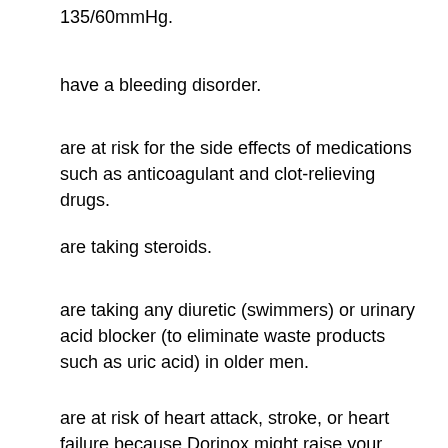135/60mmHg.
have a bleeding disorder.
are at risk for the side effects of medications such as anticoagulant and clot-relieving drugs.
are taking steroids.
are taking any diuretic (swimmers) or urinary acid blocker (to eliminate waste products such as uric acid) in older men.
are at risk of heart attack, stroke, or heart failure because Dorinox might raise your body's blood pressure too much. See your healthcare provider for a more detailed list of risks and any precautions required to prevent your health from getting injured. Follow the manufacturer's directions exactly. Do not take Dorinox if you are pregnant.